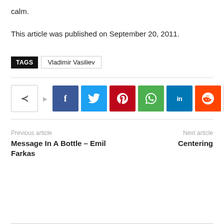calm.
This article was published on September 20, 2011.
TAGS  Vladimir Vasiliev
[Figure (infographic): Social share buttons row: share icon with arrow, Facebook, Twitter, Pinterest, WhatsApp, LinkedIn, Reddit, and a plus button]
Previous article
Message In A Bottle – Emil Farkas
Next article
Centering